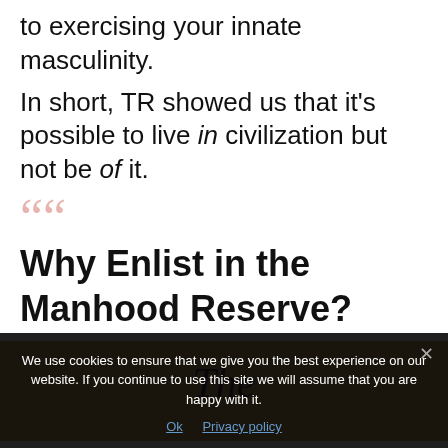to exercising your innate masculinity.
In short, TR showed us that it's possible to live in civilization but not be of it.
Why Enlist in the Manhood Reserve?
[Figure (photo): Cropped image with tan/brown background showing italic text 'The' in purple/dark color, partial view of a book or sign]
We use cookies to ensure that we give you the best experience on our website. If you continue to use this site we will assume that you are happy with it.
Ok   Privacy policy